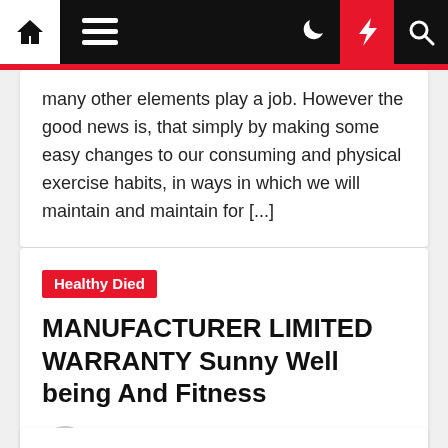Navigation bar with home, menu, moon, lightning, and search icons
many other elements play a job. However the good news is, that simply by making some easy changes to our consuming and physical exercise habits, in ways in which we will maintain and maintain for [...]
Healthy Died
MANUFACTURER LIMITED WARRANTY Sunny Well being And Fitness
Elwanda Tulloch  1 month ago